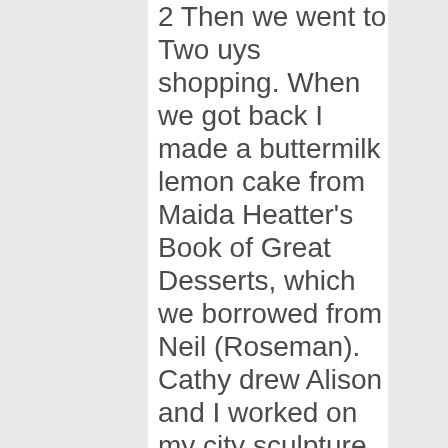2 Then we went to Two uys shopping. When we got back I made a buttermilk lemon cake from Maida Heatter's Book of Great Desserts, which we borrowed from Neil (Roseman). Cathy drew Alison and I worked on my city sculpture. Later in the afternoon we had tea and